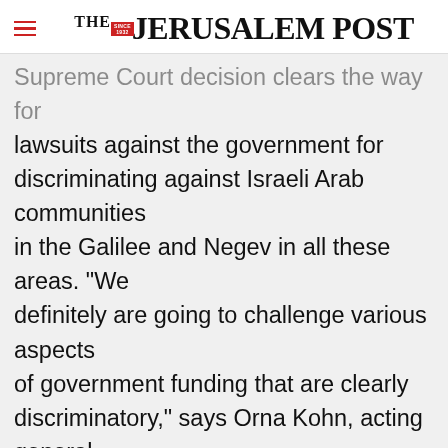THE JERUSALEM POST
Supreme Court decision clears the way for lawsuits against the government for discriminating against Israeli Arab communities in the Galilee and Negev in all these areas. "We definitely are going to challenge various aspects of government funding that are clearly discriminatory," says Orna Kohn, acting general director of Adalah, the Israeli Arab legal organization that first filed the suit back in 1998. Unequal education is only the beginning of official
Advertisement
[Figure (infographic): Magen David Adom advertisement banner reading 'Help us save lives in Israel']